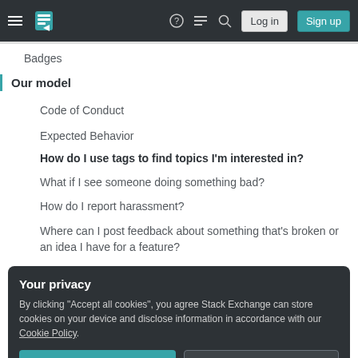Stack Exchange navigation bar with Log in and Sign up buttons
Badges
Our model
Code of Conduct
Expected Behavior
How do I use tags to find topics I'm interested in?
What if I see someone doing something bad?
How do I report harassment?
Where can I post feedback about something that's broken or an idea I have for a feature?
Your privacy
By clicking "Accept all cookies", you agree Stack Exchange can store cookies on your device and disclose information in accordance with our Cookie Policy.
Accept all cookies | Customize settings
How to not be a spammer